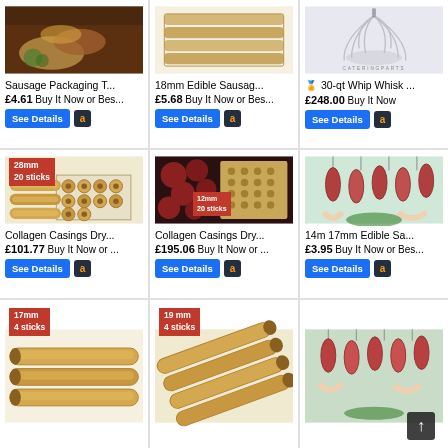[Figure (photo): Sausage packaging product image - sausage casings with meat visible]
Sausage Packaging T...
£4.61 Buy It Now or Bes...
[Figure (photo): 18mm Edible Sausage casings - stacked flat collagen sheets]
18mm Edible Sausag...
£5.68 Buy It Now or Bes...
[Figure (photo): 30-qt Whip Whisk with wire whisk tool visible, CATERINGPARTS watermark]
🏅 30-qt Whip Whisk ...
£248.00 Buy It Now
[Figure (photo): Collagen Casings Dry - 28mm 20 sticks badge, tubes in box]
Collagen Casings Dry...
£101.77 Buy It Now or ...
[Figure (photo): Collagen Casings Dry - 12mm 20 sticks badge, brown tubes and berries]
Collagen Casings Dry...
£195.06 Buy It Now or ...
[Figure (photo): 14m 17mm Edible Sausage casings - hanging sausages]
14m 17mm Edible Sa...
£3.95 Buy It Now or Bes...
[Figure (photo): Collagen casings 17mm 4 sticks badge - tube sticks]
[Figure (photo): Collagen casings 19mm 4 sticks badge - tube sticks]
[Figure (photo): Hanging sausages with arrow/scroll button]